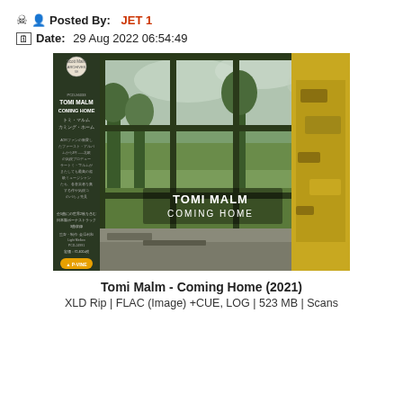Posted By: JET 1
Date: 29 Aug 2022 06:54:49
[Figure (photo): Album cover for Tomi Malm - Coming Home (2021). Japanese edition CD with P-VINE label obi strip on the left side showing Japanese text, artist name TOMI MALM and COMING HOME. The main cover shows a view through a broken industrial window with green trees and overgrown landscape outside. Yellow peeling wall visible on the right side. White text 'TOMI MALM COMING HOME' overlaid on the image.]
Tomi Malm - Coming Home (2021)
XLD Rip | FLAC (Image) +CUE, LOG | 523 MB | Scans